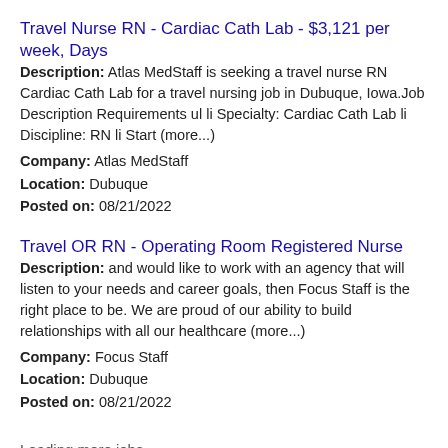Travel Nurse RN - Cardiac Cath Lab - $3,121 per week, Days
Description: Atlas MedStaff is seeking a travel nurse RN Cardiac Cath Lab for a travel nursing job in Dubuque, Iowa.Job Description Requirements ul li Specialty: Cardiac Cath Lab li Discipline: RN li Start (more...)
Company: Atlas MedStaff
Location: Dubuque
Posted on: 08/21/2022
Travel OR RN - Operating Room Registered Nurse
Description: and would like to work with an agency that will listen to your needs and career goals, then Focus Staff is the right place to be. We are proud of our ability to build relationships with all our healthcare (more...)
Company: Focus Staff
Location: Dubuque
Posted on: 08/21/2022
Loading more jobs...